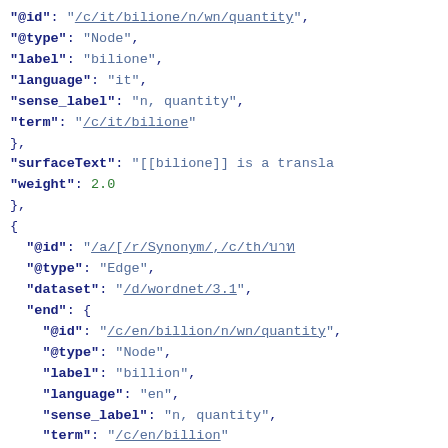JSON-LD code snippet showing ConceptNet edge data with @id, @type, label, language, sense_label, term, surfaceText, weight, dataset, end, license, rel fields